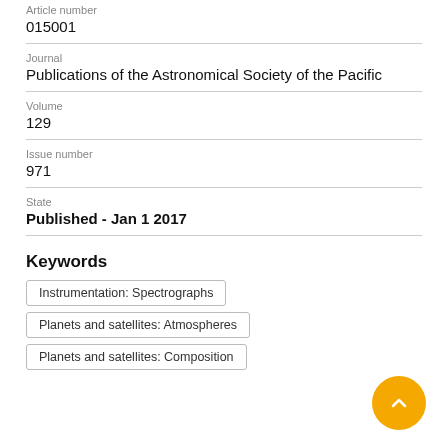Article number
015001
Journal
Publications of the Astronomical Society of the Pacific
Volume
129
Issue number
971
State
Published - Jan 1 2017
Keywords
Instrumentation: Spectrographs
Planets and satellites: Atmospheres
Planets and satellites: Composition